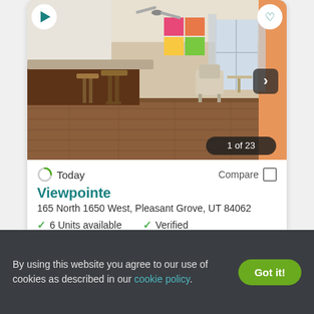[Figure (photo): Interior photo of an apartment living/dining area with hardwood floors, kitchen bar with stools, and a sitting area near a window. Shows '1 of 23' photo counter.]
Today
Compare
Viewpointe
165 North 1650 West, Pleasant Grove, UT 84062
6 Units available
Verified
By using this website you agree to our use of cookies as described in our cookie policy.